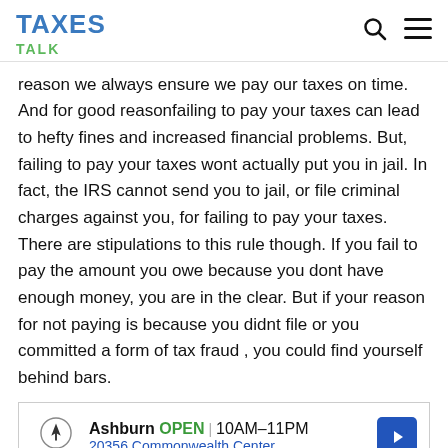TAXES TALK
reason we always ensure we pay our taxes on time. And for good reasonfailing to pay your taxes can lead to hefty fines and increased financial problems. But, failing to pay your taxes wont actually put you in jail. In fact, the IRS cannot send you to jail, or file criminal charges against you, for failing to pay your taxes. There are stipulations to this rule though. If you fail to pay the amount you owe because you dont have enough money, you are in the clear. But if your reason for not paying is because you didnt file or you committed a form of tax fraud , you could find yourself behind bars.
[Figure (other): Advertisement for Topgolf Ashburn showing OPEN 10AM-11PM, 20356 Commonwealth Center..., with navigation arrow icon, play and close controls]